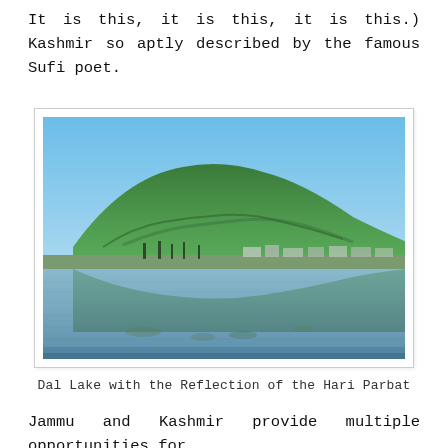It is this, it is this, it is this.) Kashmir so aptly described by the famous Sufi poet.
[Figure (photo): Photograph of Dal Lake with the green-forested Hari Parbat hill reflected in the calm water, under a clear blue sky. A narrow strip of land with trees and buildings is visible between the water and the hill.]
Dal Lake with the Reflection of the Hari Parbat
Jammu and Kashmir provide multiple opportunities for